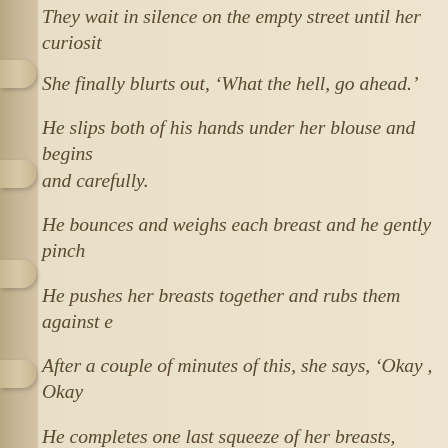They wait in silence on the empty street until her curiosit
She finally blurts out, ‘What the hell, go ahead.’
He slips both of his hands under her blouse and begins and carefully.
He bounces and weighs each breast and he gently pinch
He pushes her breasts together and rubs them against e
After a couple of minutes of this, she says, ‘Okay , Okay
He completes one last squeeze of her breasts, remov ‘Madam, you are 50.’ Stunned and amazed, the w incredible, how could you tell?’
The old man says, ‘Promise you won’t get mad?’
‘I promise I won’t’ she says.
‘I was behind you McDonalds.’ A woman decides to ha